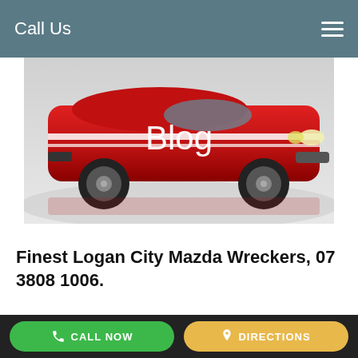Call Us
[Figure (photo): Red classic Mustang muscle car with white racing stripes, photographed from the side on a reflective surface. The word 'Blog' is overlaid in white text at the center of the image.]
Finest Logan City Mazda Wreckers, 07 3808 1006.
.
Ideal Logan City Mazda
CALL NOW   DIRECTIONS